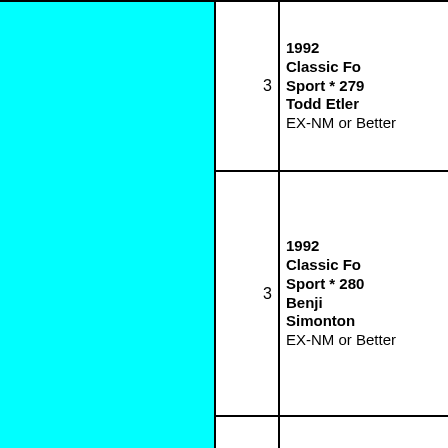| (image) | qty | description |
| --- | --- | --- |
|  | 3 | 1992 Classic Fo Sport * 279 Todd Etler EX-NM or Better |
|  | 3 | 1992 Classic Fo Sport * 280 Benji Simonton EX-NM or Better |
|  | 3 | 1992 Classic Fo Sport * 281 Dwight Maness EX-NM or Better |
|  | 3 | 1992 Classic Fo Sport * 282 Chris Eddy EX-NM or Better |
|  |  | 1992 Classic Fo |